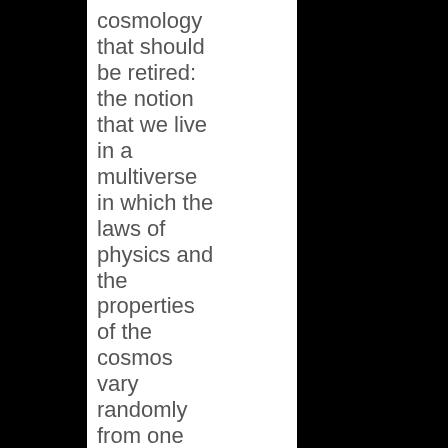cosmology that should be retired: the notion that we live in a multiverse in which the laws of physics and the properties of the cosmos vary randomly from one patch of space to another. According to this view,